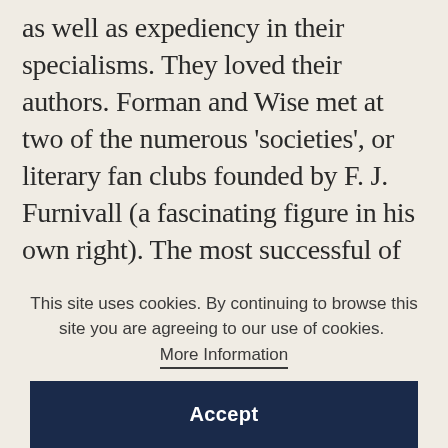as well as expediency in their specialisms. They loved their authors. Forman and Wise met at two of the numerous 'societies', or literary fan clubs founded by F. J. Furnivall (a fascinating figure in his own right). The most successful of these societies were those devoted to giants of the 19th century such as Ruskin, Shelley and – pre-eminently – Browning. It was as the officer in charge of printing at the Shelley Society that Wise formed his alliance with Forman. There, too, he learned how to fake pamphlets, with the above-board
This site uses cookies. By continuing to browse this site you are agreeing to our use of cookies. More Information
Accept